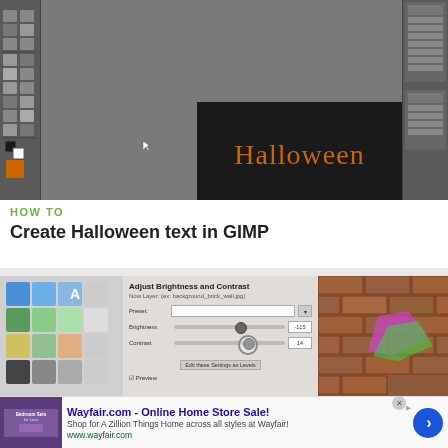[Figure (screenshot): GIMP image editor screenshot showing a dark canvas with orange 'Halloween' text in the center, with toolbars on the sides and gray workspace background]
HOW TO
Create Halloween text in GIMP
[Figure (screenshot): Screenshot showing GIMP toolbox icons, an 'Adjust Brightness and Contrast' dialog with sliders, and a photo of colorful shoes on a brick wall]
Wayfair.com - Online Home Store Sale!
Shop for A Zillion Things Home across all styles at Wayfair!
www.wayfair.com